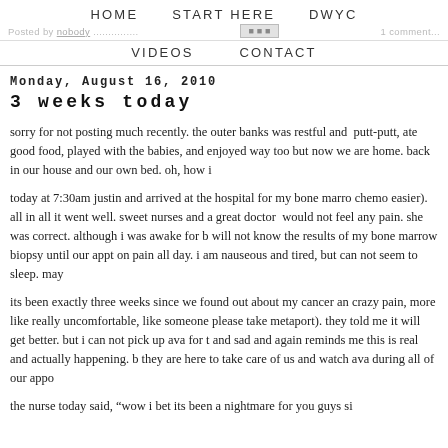HOME   START HERE   DWYC
Posted by [author] ... [social icons] 1 comment...
VIDEOS   CONTACT
Monday, August 16, 2010
3 weeks today
sorry for not posting much recently. the outer banks was restful and [continued] putt-putt, ate good food, played with the babies, and enjoyed way too [continued] but now we are home. back in our house and our own bed. oh, how i [continued]
today at 7:30am justin and arrived at the hospital for my bone marro[continued] chemo easier). all in all it went well. sweet nurses and a great doctor [continued] would not feel any pain. she was correct. although i was awake for b[continued] will not know the results of my bone marrow biopsy until our appt on [continued] pain all day. i am nauseous and tired, but can not seem to sleep. may[continued]
its been exactly three weeks since we found out about my cancer an[continued] crazy pain, more like really uncomfortable, like someone please take [continued] metaport). they told me it will get better. but i can not pick up ava for t[continued] and sad and again reminds me this is real and actually happening. b[continued] they are here to take care of us and watch ava during all of our appo[continued]
the nurse today said, "wow i bet its been a nightmare for you guys si[continued]